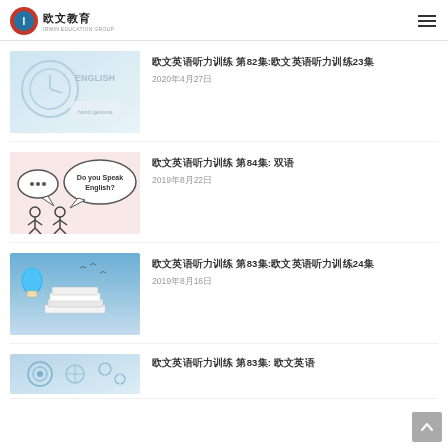欧文教育 IRWIN EDUCATION GROUP
[Figure (photo): Light blue background with English text and clock graphic]
欧文英语听力训练 第82集:欧文英语听力训练23集
2020年4月27日
[Figure (illustration): Pink background with two speech bubble figures, 'Do you Speak English?']
欧文英语听力训练 第84集: 双语
2019年8月22日
[Figure (photo): Blue sky background with stacked books and hot air balloon]
欧文英语听力训练 第83集:欧文英语听力训练24集
2019年8月16日
[Figure (photo): Partial thumbnail of fourth article]
欧文英语听力训练 第83集: 欧文英语